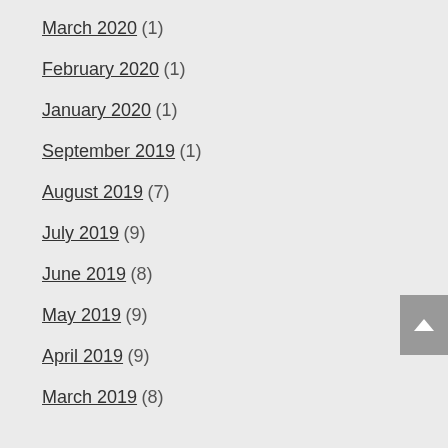March 2020 (1)
February 2020 (1)
January 2020 (1)
September 2019 (1)
August 2019 (7)
July 2019 (9)
June 2019 (8)
May 2019 (9)
April 2019 (9)
March 2019 (8)